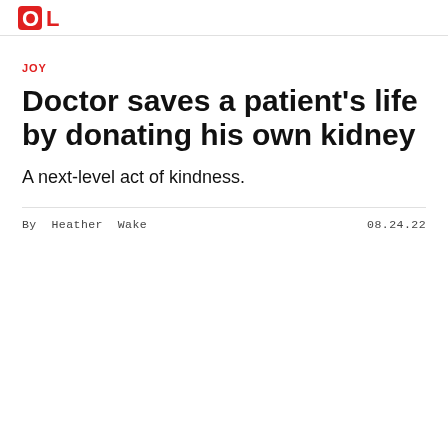OL (logo)
JOY
Doctor saves a patient's life by donating his own kidney
A next-level act of kindness.
By Heather Wake    08.24.22